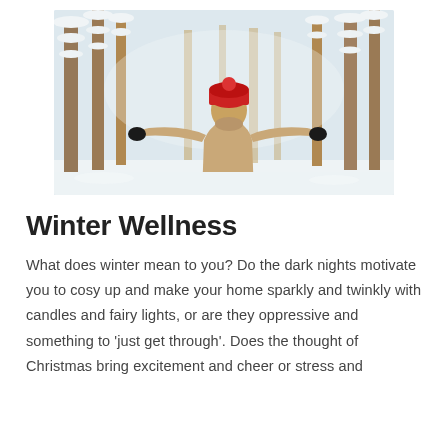[Figure (photo): A person from behind, arms outstretched, wearing a red knit hat and tan coat, standing in a snowy winter forest with snow-covered trees]
Winter Wellness
What does winter mean to you? Do the dark nights motivate you to cosy up and make your home sparkly and twinkly with candles and fairy lights, or are they oppressive and something to 'just get through'. Does the thought of Christmas bring excitement and cheer or stress and